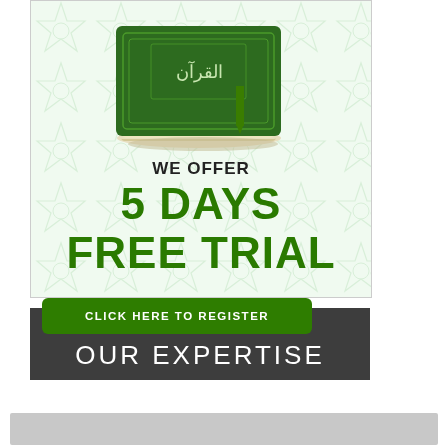[Figure (illustration): Green Quran book with decorative Islamic geometric pattern background. Text reads WE OFFER 5 DAYS FREE TRIAL.]
CLICK HERE TO REGISTER
OUR EXPERTISE